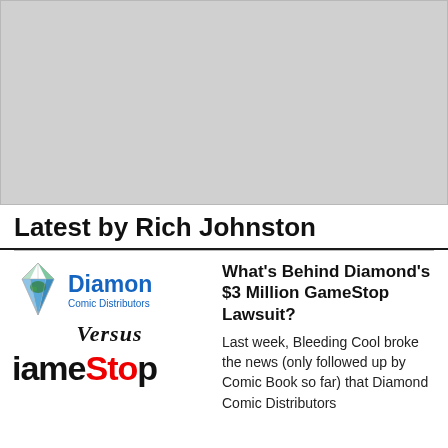[Figure (other): Gray placeholder image box at top of page]
Latest by Rich Johnston
[Figure (logo): Diamond Comic Distributors logo versus GameStop logo composite]
What's Behind Diamond's $3 Million GameStop Lawsuit?
Last week, Bleeding Cool broke the news (only followed up by Comic Book so far) that Diamond Comic Distributors